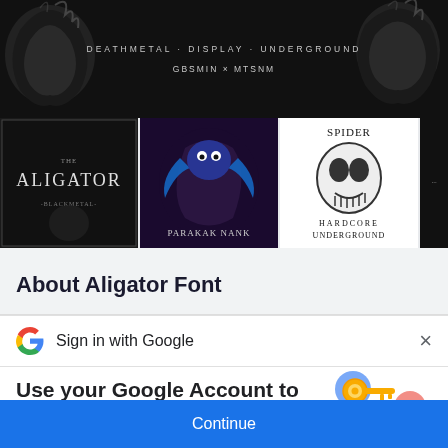[Figure (screenshot): Dark banner with death metal font text: DEATHMETAL · DISPLAY · UNDERGROUND and GBSMIN × MTSNM, with ghostly skull/creature images on sides]
[Figure (screenshot): Horizontal strip of font preview images: The Aligator album art, Parakak Nank colorful bird art, Spider/Hardcore Underground skull art, Slaughter rock art, a text list layout, and a person wearing white t-shirt]
About Aligator Font
[Figure (screenshot): Google Sign In dialog header bar with Google G logo and text 'Sign in with Google' and X close button]
Use your Google Account to sign in to creativefabrica.com
No more passwords to remember.
Signing in is fast, simple and secure.
[Figure (illustration): Google account key illustration with golden key and colorful circles]
Continue